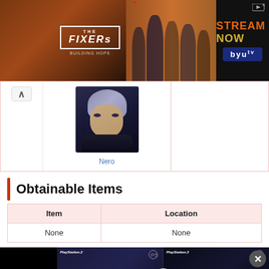[Figure (screenshot): Advertisement banner for 'The Fixers: Building Hope' TV show with 'STREAM NOW byutv' text on dark background]
[Figure (photo): Character card showing Nero from Devil May Cry with a blue link label]
Obtainable Items
| Item | Location |
| --- | --- |
| None | None |
[Figure (screenshot): Video player overlay showing Tony Hawk's Underground and Star Wars Battlefront II PS2 game covers with a play button]